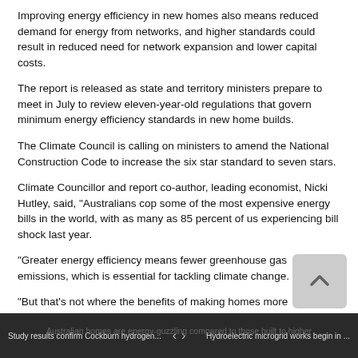Improving energy efficiency in new homes also means reduced demand for energy from networks, and higher standards could result in reduced need for network expansion and lower capital costs.
The report is released as state and territory ministers prepare to meet in July to review eleven-year-old regulations that govern minimum energy efficiency standards in new home builds.
The Climate Council is calling on ministers to amend the National Construction Code to increase the six star standard to seven stars.
Climate Councillor and report co-author, leading economist, Nicki Hutley, said, "Australians cop some of the most expensive energy bills in the world, with as many as 85 percent of us experiencing bill shock last year.
"Greater energy efficiency means fewer greenhouse gas emissions, which is essential for tackling climate change.
"But that's not where the benefits of making homes more comfortable to live in stops – we can also improve people's health and wellbeing, reduce electricity bills, strengthen our energy grid and create jobs.
Study results confirm Cockburn hydrogen...   <   >   Hydroelectric microgrid works begin in ...